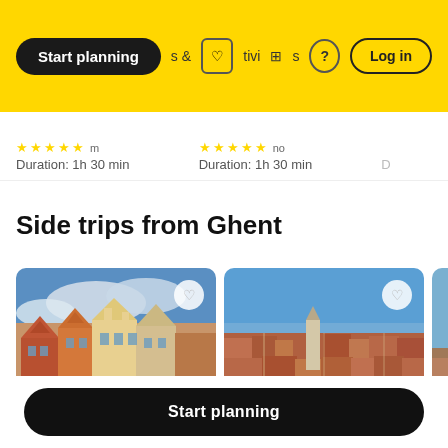Start planning | Experiences & Activities | ? | Log in
Duration: 1h 30 min
Duration: 1h 30 min
Side trips from Ghent
[Figure (photo): Colorful historic guild houses on a market square in Bruges, Belgium, with green-canopied restaurants and tourists in the foreground]
[Figure (photo): Aerial view of Bruges city center showing red-tiled rooftops and a church tower under a clear blue sky]
Start planning